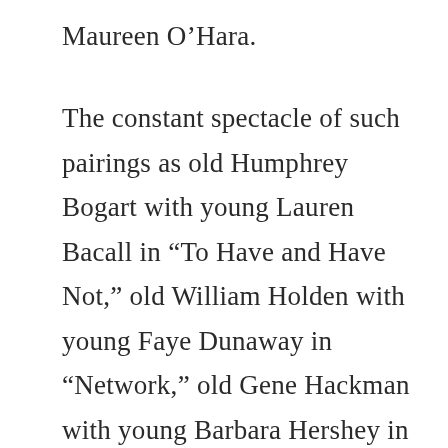Maureen O’Hara.
The constant spectacle of such pairings as old Humphrey Bogart with young Lauren Bacall in “To Have and Have Not,” old William Holden with young Faye Dunaway in “Network,” old Gene Hackman with young Barbara Hershey in “Hoosiers,” and many more,  with Cruise’s films continuing a pattern that ossifies biases and stereotypes regarding